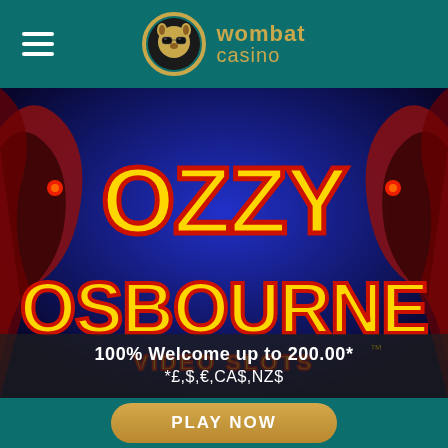[Figure (logo): Wombat Casino logo with hamburger menu on left, gold wombat chip icon and gold 'wombat casino' text centered on teal header]
[Figure (screenshot): Ozzy Osbourne Video Slots game banner with bold yellow/red logo on blue background with dark creature figures on sides]
100% Welcome up to 200.00*
*£,$,€,CA$,NZ$
[Figure (other): PLAY NOW button in gold/amber rounded rectangle on teal footer bar]